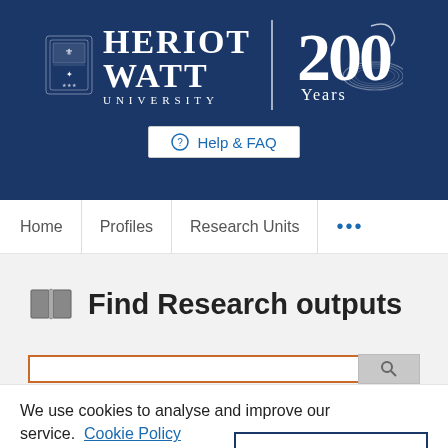[Figure (logo): Heriot-Watt University logo with crest, name, and 200 Years anniversary badge on dark navy background, with Help & FAQ button]
Home   Profiles   Research Units   ...
Find Research outputs
We use cookies to analyse and improve our service. Cookie Policy